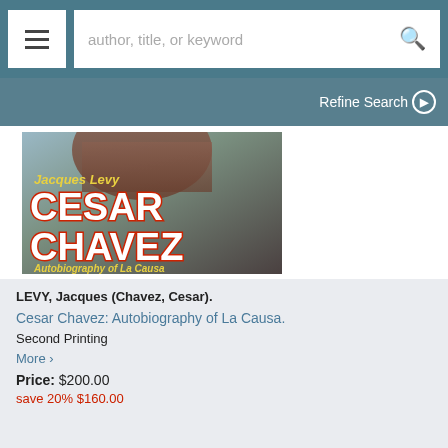[Figure (screenshot): Website navigation bar with hamburger menu icon and search bar with placeholder text 'author, title, or keyword' and a search icon]
Refine Search ▶
[Figure (photo): Book cover of 'Cesar Chavez: Autobiography of La Causa' by Jacques Levy. Shows large red and white block letters 'CESAR CHAVEZ' with 'Jacques Levy' in yellow at top and 'Autobiography of La Causa' in yellow at bottom, with a partial photo of a person in the background.]
LEVY, Jacques (Chavez, Cesar).
Cesar Chavez: Autobiography of La Causa.
Second Printing
More ›
Price: $200.00
save 20% $160.00